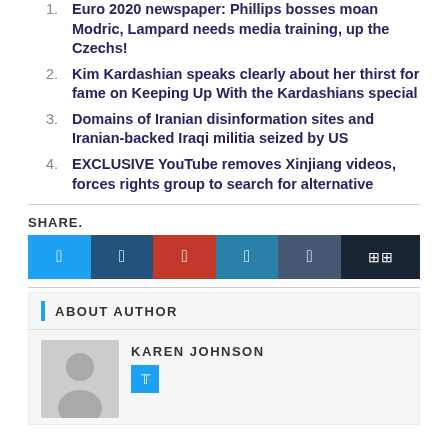Euro 2020 newspaper: Phillips bosses moan Modric, Lampard needs media training, up the Czechs!
Kim Kardashian speaks clearly about her thirst for fame on Keeping Up With the Kardashians special
Domains of Iranian disinformation sites and Iranian-backed Iraqi militia seized by US
EXCLUSIVE YouTube removes Xinjiang videos, forces rights group to search for alternative
SHARE.
ABOUT AUTHOR
KAREN JOHNSON